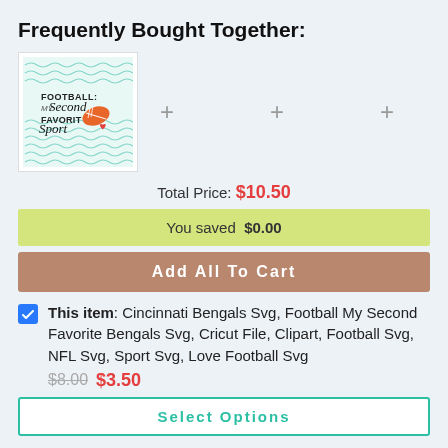Frequently Bought Together:
[Figure (illustration): Product thumbnail showing 'Football My Second Favorite Sport' SVG design with teal wave pattern background]
Total Price: $10.50
You saved $0.00
Add All To Cart
This item: Cincinnati Bengals Svg, Football My Second Favorite Bengals Svg, Cricut File, Clipart, Football Svg, NFL Svg, Sport Svg, Love Football Svg
$8.00  $3.50
Select Options